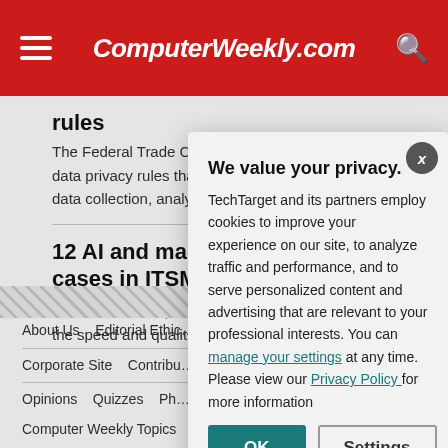ComputerWeekly.com
rules
The Federal Trade Commission is considering new data privacy rules that would address business data collection, analysis and ...
12 AI and machine learning use cases in ITSM
AI-enabled ITSM, wh... the speed and qualit...
We value your privacy. TechTarget and its partners employ cookies to improve your experience on our site, to analyze traffic and performance, and to serve personalized content and advertising that are relevant to your professional interests. You can manage your settings at any time. Please view our Privacy Policy for more information
About Us | Editorial Ethics... | Our Use of Cookies | Adv... | Corporate Site | Contribu... | In Depth | Guides | Opinions | Quizzes | Ph... | Computer Weekly Topics